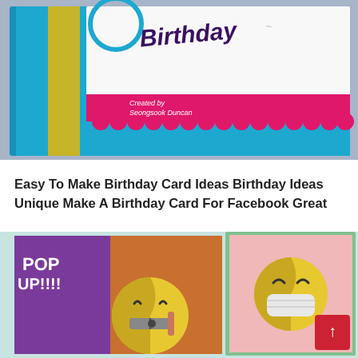[Figure (photo): A handmade birthday card with blue, yellow, and white design featuring the word 'Birthday' in purple italic script, a pink horizontal bar with scalloped edge, and watermark reading 'Created by Seongsook Duncan']
Easy To Make Birthday Card Ideas Birthday Ideas Unique Make A Birthday Card For Facebook Great
[Figure (photo): Two pop-up style cards side by side. Left card has purple and orange sections with 'POP UP!!!!' text and a zipper-mouth emoji. Right card has green border with pink interior and a masked emoji face.]